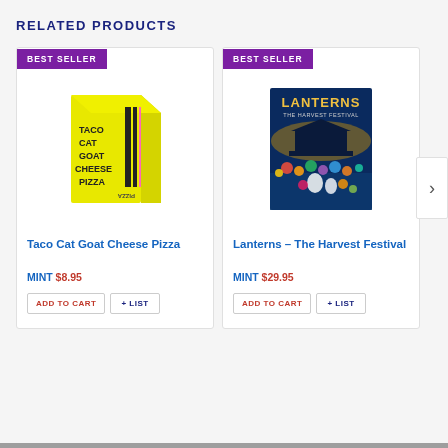RELATED PRODUCTS
[Figure (illustration): Product card for Taco Cat Goat Cheese Pizza showing a yellow game box with black stripes and text TACO CAT GOAT CHEESE PIZZA. Badge: BEST SELLER.]
Taco Cat Goat Cheese Pizza
MINT $8.95
ADD TO CART
+ LIST
[Figure (illustration): Product card for Lanterns - The Harvest Festival showing a board game box with colorful lanterns on a dark blue water background. Badge: BEST SELLER.]
Lanterns – The Harvest Festival
MINT $29.95
ADD TO CART
+ LIST